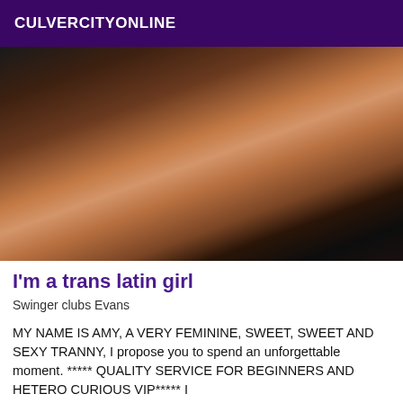CULVERCITYONLINE
[Figure (photo): Close-up photo of a person wearing a black studded bra/top with long dark hair, cropped from chin to waist.]
I'm a trans latin girl
Swinger clubs Evans
MY NAME IS AMY, A VERY FEMININE, SWEET, SWEET AND SEXY TRANNY, I propose you to spend an unforgettable moment. ***** QUALITY SERVICE FOR BEGINNERS AND HETERO CURIOUS VIP***** I